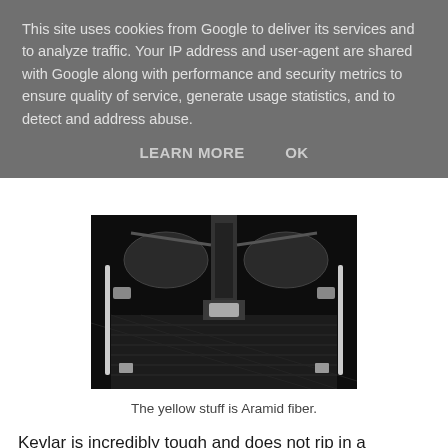This site uses cookies from Google to deliver its services and to analyze traffic. Your IP address and user-agent are shared with Google along with performance and security metrics to ensure quality of service, generate usage statistics, and to detect and address abuse.
LEARN MORE    OK
[Figure (photo): Black and white photo of the interior underside of what appears to be a vehicle or motorcycle chassis, showing Aramid fiber (yellow stuff) mesh material and mechanical components including seats and frame parts.]
The yellow stuff is Aramid fiber.
Kevlar is incredibly tough and does not rip in a catastrophical way as carbon tends to do. In case of a heavy frontal accident the nose folds up and absorbs most of the impact, leaving the rider unharmed. One customer reported she hit a